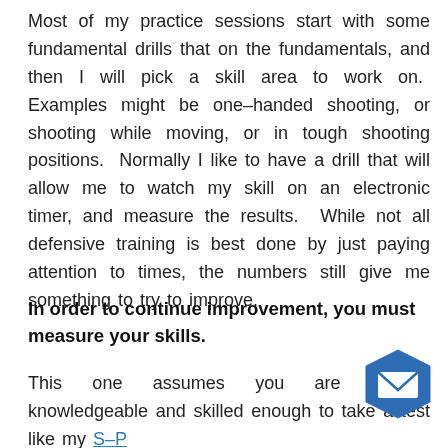Most of my practice sessions start with some fundamental drills that on the fundamentals, and then I will pick a skill area to work on.  Examples might be one–handed shooting, or shooting while moving, or in tough shooting positions.  Normally I like to have a drill that will allow me to watch my skill on an electronic timer, and measure the results.  While not all defensive training is best done by just paying attention to times, the numbers still give me something to try to improve.
In order to continue improvement, you must measure your skills.
This one assumes you are already knowledgeable and skilled enough to take a test like my S–P Handgun Skills Test.  If you are not at that level yet,
[Figure (illustration): Blue hexagonal email/envelope icon button in the bottom-right corner of the page]